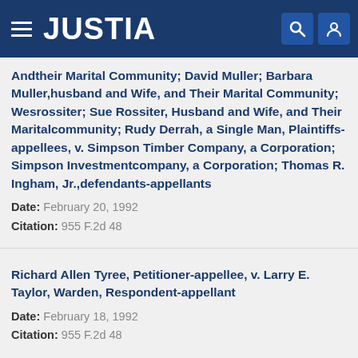JUSTIA
Andtheir Marital Community; David Muller; Barbara Muller,husband and Wife, and Their Marital Community; Wesrossiter; Sue Rossiter, Husband and Wife, and Their Maritalcommunity; Rudy Derrah, a Single Man, Plaintiffs-appellees, v. Simpson Timber Company, a Corporation; Simpson Investmentcompany, a Corporation; Thomas R. Ingham, Jr.,defendants-appellants
Date: February 20, 1992
Citation: 955 F.2d 48
Richard Allen Tyree, Petitioner-appellee, v. Larry E. Taylor, Warden, Respondent-appellant
Date: February 18, 1992
Citation: 955 F.2d 48